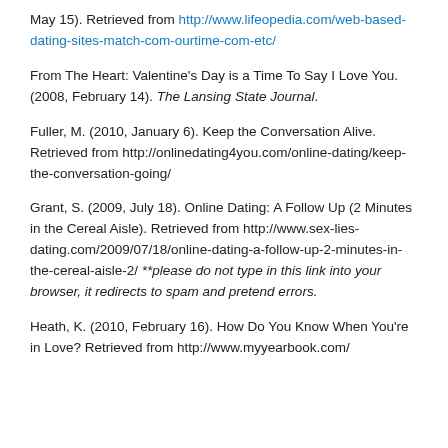May 15). Retrieved from http://www.lifeopedia.com/web-based-dating-sites-match-com-ourtime-com-etc/
From The Heart: Valentine's Day is a Time To Say I Love You. (2008, February 14). The Lansing State Journal.
Fuller, M. (2010, January 6). Keep the Conversation Alive. Retrieved from http://onlinedating4you.com/online-dating/keep-the-conversation-going/
Grant, S. (2009, July 18). Online Dating: A Follow Up (2 Minutes in the Cereal Aisle). Retrieved from http://www.sex-lies-dating.com/2009/07/18/online-dating-a-follow-up-2-minutes-in-the-cereal-aisle-2/ **please do not type in this link into your browser, it redirects to spam and pretend errors.
Heath, K. (2010, February 16). How Do You Know When You're in Love? Retrieved from http://www.myyearbook.com/